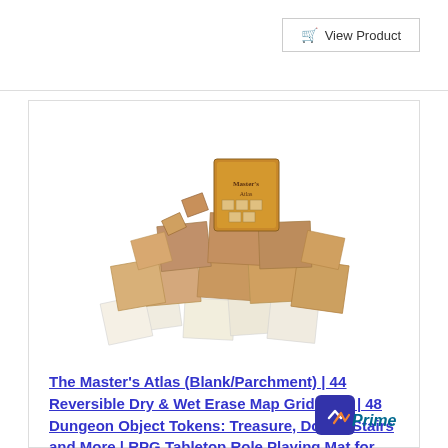View Product
RANK NO. #6
[Figure (photo): Photo of The Master's Atlas board game box and spread of dungeon tile pieces (beige/tan colored interlocking map grid tiles laid out on white background)]
The Master's Atlas (Blank/Parchment) | 44 Reversible Dry & Wet Erase Map Grid Tiles | 48 Dungeon Object Tokens: Treasure, Doors, Stairs and More | RPG Tabletop Role Playing Mat for Fantasy Gaming
[Figure (logo): Amazon Prime logo - orange checkmark with 'Prime' text in teal]